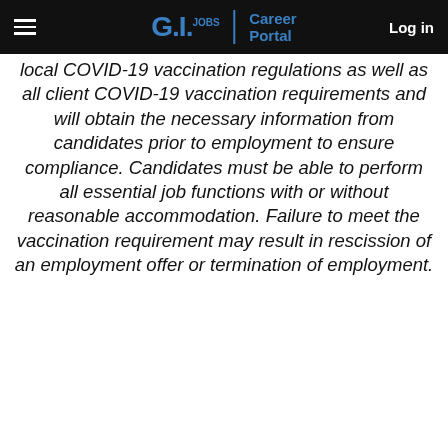G.I. JOBS | Career Portal  Log in
local COVID-19 vaccination regulations as well as all client COVID-19 vaccination requirements and will obtain the necessary information from candidates prior to employment to ensure compliance. Candidates must be able to perform all essential job functions with or without reasonable accommodation. Failure to meet the vaccination requirement may result in rescission of an employment offer or termination of employment.